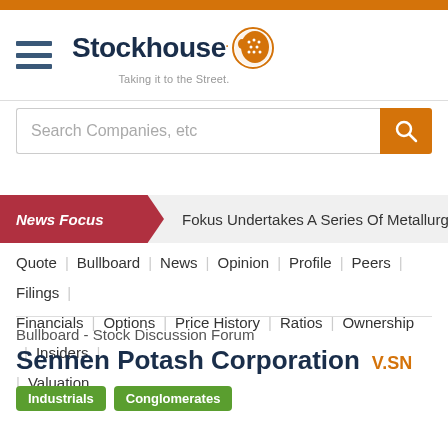[Figure (logo): Stockhouse logo with orange mascot icon and tagline 'Taking it to the Street.']
Search Companies, etc
News Focus  Fokus Undertakes A Series Of Metallurgical
Quote | Bullboard | News | Opinion | Profile | Peers | Filings | Financials | Options | Price History | Ratios | Ownership | Insiders | Valuation
Bullboard - Stock Discussion Forum
Sennen Potash Corporation  V.SN
Industrials
Conglomerates